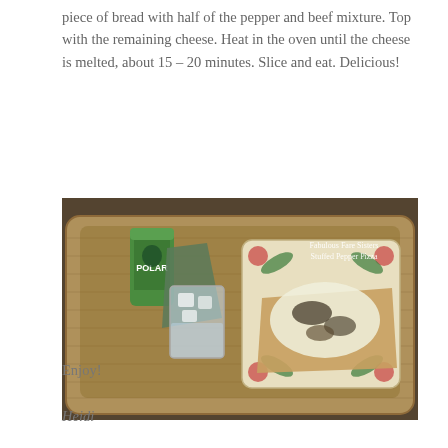piece of bread with half of the pepper and beef mixture. Top with the remaining cheese. Heat in the oven until the cheese is melted, about 15 – 20 minutes. Slice and eat. Delicious!
[Figure (photo): A wicker basket tray containing a green Polar soda can, a glass of ice water with a green napkin, and a decorative floral plate with stuffed pepper pizza topped with melted cheese. Watermark text reads 'Fabulous Fare Sisters Stuffed Pepper Pizza'.]
Enjoy!
Heidi